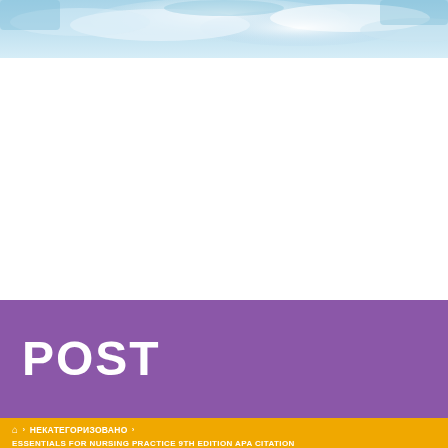[Figure (photo): Blue sky and clouds decorative header image]
POST
🏠 › НЕКАТЕГОРИЗОВАНО › ESSENTIALS FOR NURSING PRACTICE 9TH EDITION APA CITATION